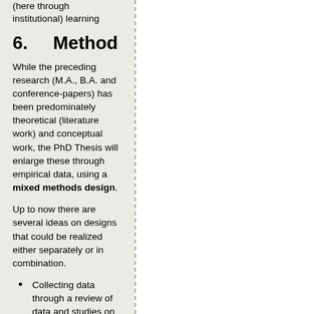(here through institutional) learning
6.    Method
While the preceding research (M.A., B.A. and conference-papers) has been predominately theoretical (literature work) and conceptual work, the PhD Thesis will enlarge these through empirical data, using a mixed methods design.
Up to now there are several ideas on designs that could be realized either separately or in combination.
Collecting data through a review of data and studies on the recent use and integration of networking-tools, social media of